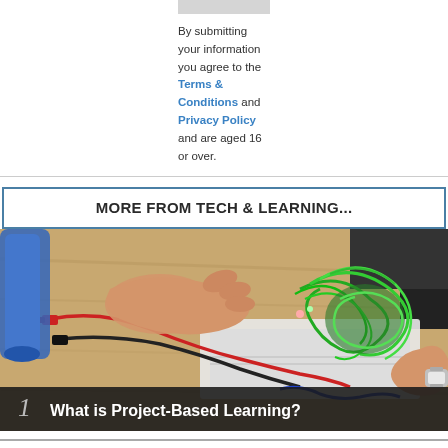By submitting your information you agree to the Terms & Conditions and Privacy Policy and are aged 16 or over.
MORE FROM TECH & LEARNING...
[Figure (photo): Hands working on an electronics breadboard with colorful wires (red, green, blue) and components on a wooden surface. A wristwatch is visible on one wrist.]
1  What is Project-Based Learning?